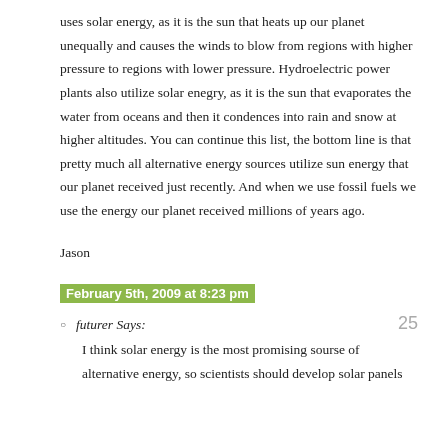uses solar energy, as it is the sun that heats up our planet unequally and causes the winds to blow from regions with higher pressure to regions with lower pressure. Hydroelectric power plants also utilize solar enegry, as it is the sun that evaporates the water from oceans and then it condences into rain and snow at higher altitudes. You can continue this list, the bottom line is that pretty much all alternative energy sources utilize sun energy that our planet received just recently. And when we use fossil fuels we use the energy our planet received millions of years ago.
Jason
February 5th, 2009 at 8:23 pm
futurer Says:
I think solar energy is the most promising sourse of alternative energy, so scientists should develop solar panels